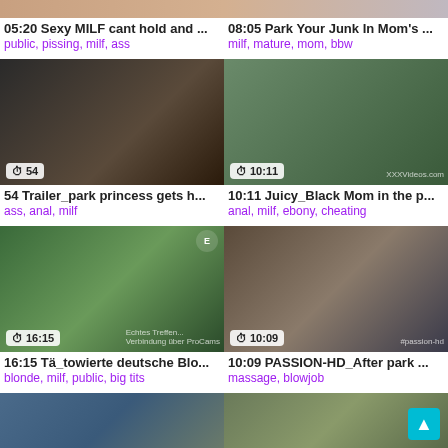[Figure (screenshot): Video thumbnail grid showing adult video listings with thumbnails, durations, titles, and tags]
05:20 Sexy MILF cant hold and ...
public, pissing, milf, ass
08:05 Park Your Junk In Mom's ...
milf, mature, mom, bbw
54 Trailer_park princess gets h...
ass, anal, milf
10:11 Juicy_Black Mom in the p...
anal, milf, ebony, cheating
16:15 Tä_towierte deutsche Blo...
blonde, milf, public, big tits
10:09 PASSION-HD_After park ...
massage, blowjob